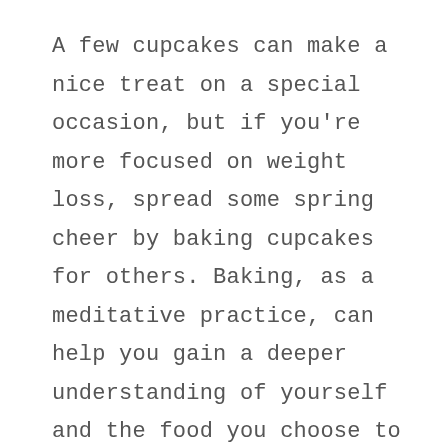A few cupcakes can make a nice treat on a special occasion, but if you're more focused on weight loss, spread some spring cheer by baking cupcakes for others. Baking, as a meditative practice, can help you gain a deeper understanding of yourself and the food you choose to put into your